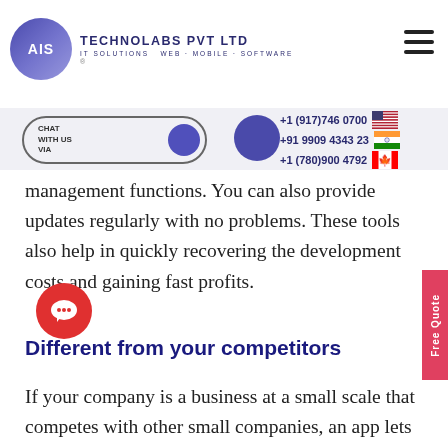[Figure (logo): AIS Technolabs Pvt Ltd logo with purple globe icon and company name, tagline IT SOLUTIONS WEB MOBILE SOFTWARE]
[Figure (infographic): Navigation bar with hamburger menu, chat widget pill, messenger circle icon, phone numbers with country flags (+1 917 746 0700 US, +91 9909 4343 23 India, +1 780 900 4792 Canada), and Free Quote vertical tab]
management functions. You can also provide updates regularly with no problems. These tools also help in quickly recovering the development costs and gaining fast profits.
Different from your competitors
If your company is a business at a small scale that competes with other small companies, an app lets you make a difference and stand out from the rest.